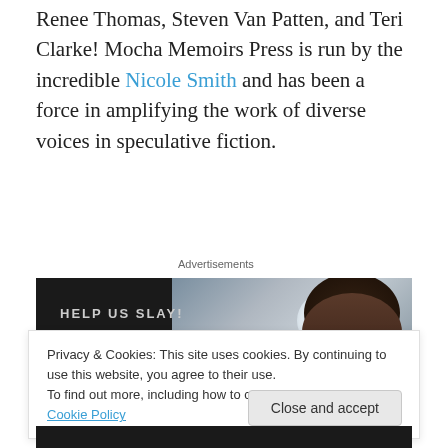Renee Thomas, Steven Van Patten, and Teri Clarke! Mocha Memoirs Press is run by the incredible Nicole Smith and has been a force in amplifying the work of diverse voices in speculative fiction.
Advertisements
[Figure (illustration): Advertisement banner with dark background showing 'HELP US SLAY!' text with a teal underline and large teal 'Vampire...' text on left side, and a photo of a woman with a large afro hairstyle against a moonlit sky on the right.]
Privacy & Cookies: This site uses cookies. By continuing to use this website, you agree to their use.
To find out more, including how to control cookies, see here: Cookie Policy
Close and accept